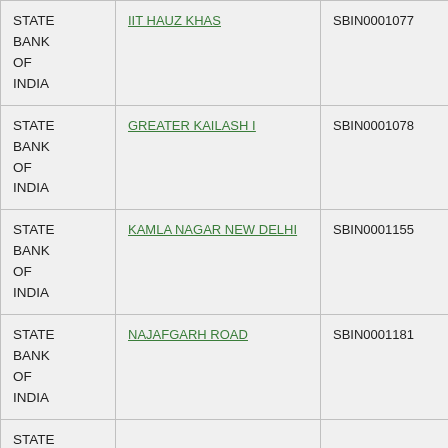| STATE BANK OF INDIA | IIT HAUZ KHAS | SBIN0001077 | 110002156 |
| STATE BANK OF INDIA | GREATER KAILASH I | SBIN0001078 | 110002042 |
| STATE BANK OF INDIA | KAMLA NAGAR NEW DELHI | SBIN0001155 | 110002061 |
| STATE BANK OF INDIA | NAJAFGARH ROAD | SBIN0001181 | 110002079 |
| STATE BANK OF INDIA |  |  |  |